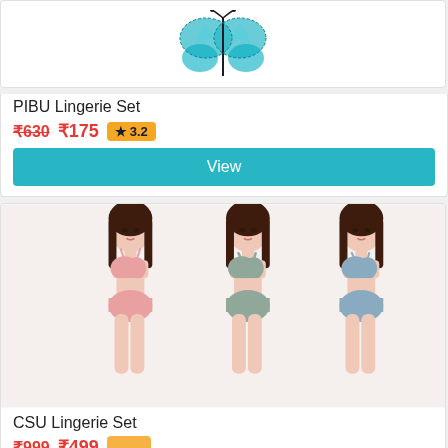[Figure (photo): PIBU Lingerie Set product image showing a blue butterfly/lace lingerie piece]
PIBU Lingerie Set
₹630 ₹175 ★ 3.2
View
[Figure (photo): CSU Lingerie Set product image showing three female models wearing matching bra and panty sets in pink, sage green, and blue colors]
CSU Lingerie Set
₹999 ₹499